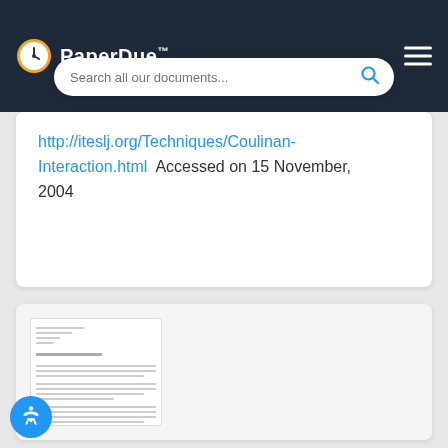PaperDue™
http://iteslj.org/Techniques/Coulinan-Interaction.html  Accessed on 15 November, 2004
[Figure (screenshot): Thumbnail preview of a document page with text lines]